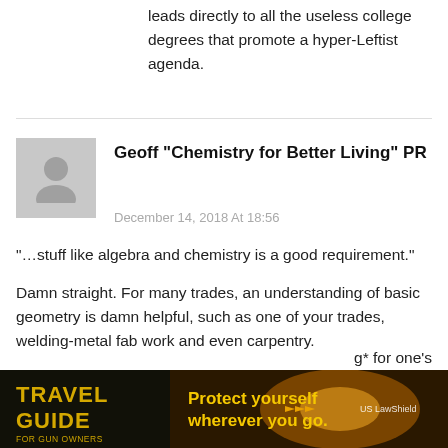leads directly to all the useless college degrees that promote a hyper-Leftist agenda.
Geoff "Chemistry for Better Living" PR
December 14, 2018 At 18:56
“…stuff like algebra and chemistry is a good requirement.”
Damn straight. For many trades, an understanding of basic geometry is damn helpful, such as one of your trades, welding-metal fab work and even carpentry.
Basic chem can save your life by giving you a good idea of *why* mixing certain home or shop
g* for one's
[Figure (photo): Advertisement banner: Travel Guide for Gun Owners - Protect yourself wherever you go. US LawShield.]